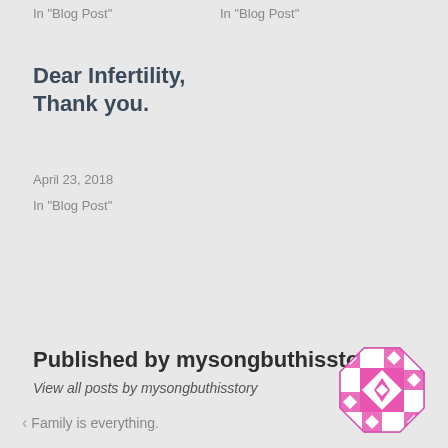In "Blog Post"
In "Blog Post"
Dear Infertility, Thank you.
April 23, 2018
In "Blog Post"
Published by mysongbuthisstory
View all posts by mysongbuthisstory
[Figure (logo): Pink geometric quilt-pattern avatar icon for user mysongbuthisstory]
< Family is everything.